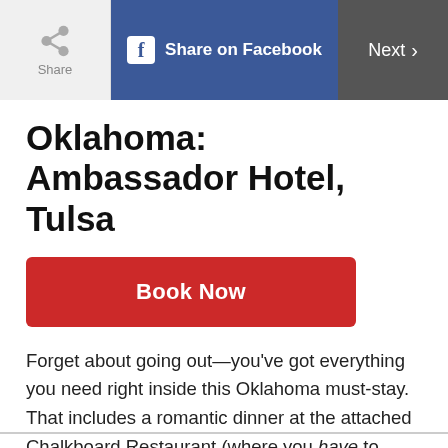Share | Share on Facebook | Next >
Oklahoma: Ambassador Hotel, Tulsa
[Figure (other): Book Now button (red call-to-action button)]
Forget about going out—you've got everything you need right inside this Oklahoma must-stay. That includes a romantic dinner at the attached Chalkboard Restaurant (where you have to order the Beef Wellington), plush beds you just want to dive into and plenty of in-room meal and spa services.